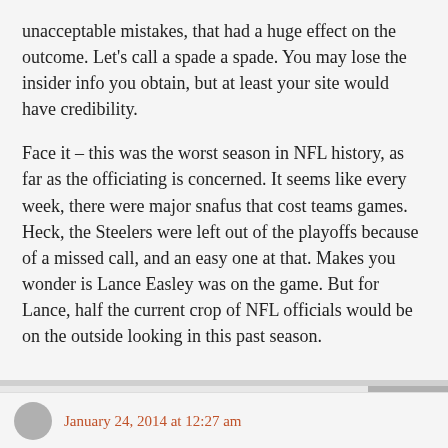unacceptable mistakes, that had a huge effect on the outcome. Let's call a spade a spade. You may lose the insider info you obtain, but at least your site would have credibility.
Face it – this was the worst season in NFL history, as far as the officiating is concerned. It seems like every week, there were major snafus that cost teams games. Heck, the Steelers were left out of the playoffs because of a missed call, and an easy one at that. Makes you wonder is Lance Easley was on the game. But for Lance, half the current crop of NFL officials would be on the outside looking in this past season.
January 24, 2014 at 12:27 am